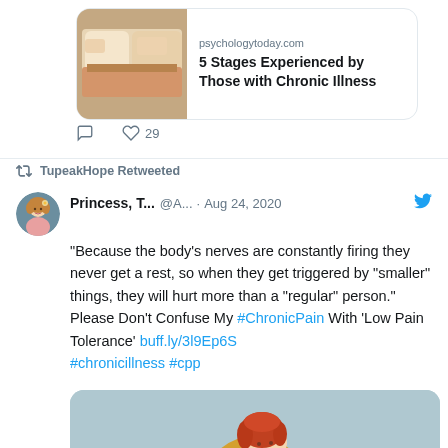[Figure (screenshot): Top of a tweet showing a link card with image thumbnail for '5 Stages Experienced by Those with Chronic Illness' from psychologytoday.com, with comment and 29 likes action bar]
TupeakHope Retweeted
Princess, T... @A... · Aug 24, 2020
"Because the body's nerves are constantly firing they never get a rest, so when they get triggered by "smaller" things, they will hurt more than a "regular" person." Please Don't Confuse My #ChronicPain With 'Low Pain Tolerance' buff.ly/3l9Ep6S #chronicillness #cpp
[Figure (illustration): Illustration of a person with red hair, wearing a yellow spotted coat, hunched over holding their knees, on a light blue background]